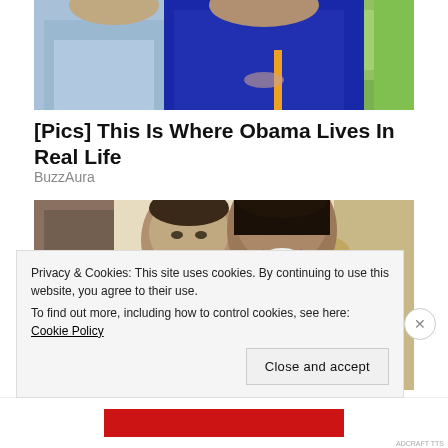[Figure (photo): Partial top photo showing two people outdoors with green background, cropped at top]
[Pics] This Is Where Obama Lives In Real Life
BuzzAura
[Figure (photo): Photo of Barack Obama and Michelle Obama smiling together indoors]
Privacy & Cookies: This site uses cookies. By continuing to use this website, you agree to their use.
To find out more, including how to control cookies, see here: Cookie Policy
Close and accept